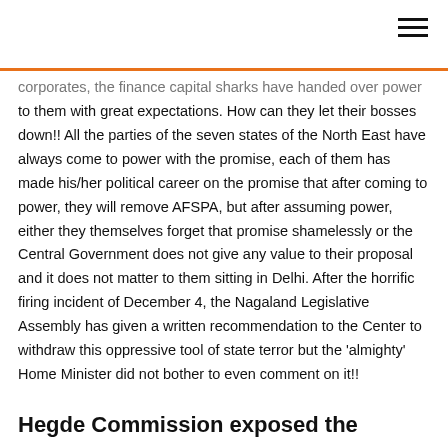corporates, the finance capital sharks have handed over power to them with great expectations. How can they let their bosses down!! All the parties of the seven states of the North East have always come to power with the promise, each of them has made his/her political career on the promise that after coming to power, they will remove AFSPA, but after assuming power, either they themselves forget that promise shamelessly or the Central Government does not give any value to their proposal and it does not matter to them sitting in Delhi. After the horrific firing incident of December 4, the Nagaland Legislative Assembly has given a written recommendation to the Center to withdraw this oppressive tool of state terror but the 'almighty' Home Minister did not bother to even comment on it!!
Hegde Commission exposed the